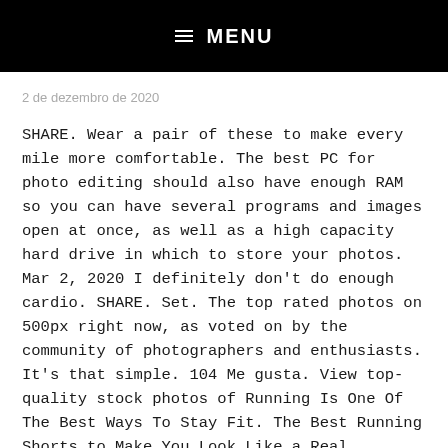≡ MENU
2 de dezembro de 2020
SHARE. Wear a pair of these to make every mile more comfortable. The best PC for photo editing should also have enough RAM so you can have several programs and images open at once, as well as a high capacity hard drive in which to store your photos. Mar 2, 2020 I definitely don't do enough cardio. SHARE. Set. The top rated photos on 500px right now, as voted on by the community of photographers and enthusiasts. It's that simple. 104 Me gusta. View top-quality stock photos of Running Is One Of The Best Ways To Stay Fit. The Best Running Shorts to Make You Look Like a Real Lifelong Runner. Personal Best Running. 15. The Best Running Shoes For Women in 2020 ...